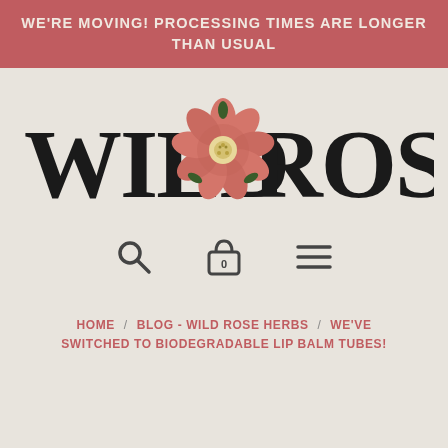WE'RE MOVING! PROCESSING TIMES ARE LONGER THAN USUAL
[Figure (logo): Wild Rose Herbs logo with decorative hand-drawn lettering spelling WILD ROSE with a pink rose flower illustration in the center between the two words]
[Figure (infographic): Navigation icons: magnifying glass (search), padlock with 0 (cart), and three horizontal lines (menu)]
HOME / BLOG - WILD ROSE HERBS / WE'VE SWITCHED TO BIODEGRADABLE LIP BALM TUBES!